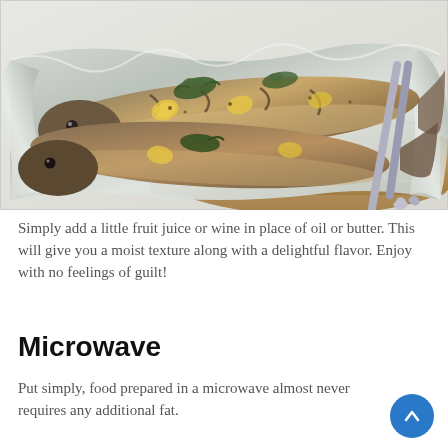[Figure (photo): Two whole cooked fish wrapped in aluminum foil with lemon slices and dill herbs on a wooden cutting board, with metal tongs visible on the right side.]
Simply add a little fruit juice or wine in place of oil or butter. This will give you a moist texture along with a delightful flavor. Enjoy with no feelings of guilt!
Microwave
Put simply, food prepared in a microwave almost never requires any additional fat.